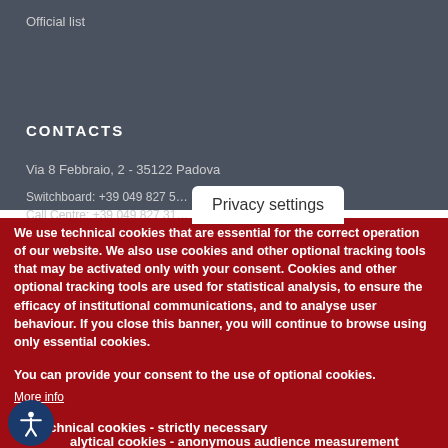Official list
CONTACTS
Via 8 Febbraio, 2 - 35122 Padova
Switchboard: +39 049 827 5
Call Centre: +39 049 827 31
Privacy settings
We use technical cookies that are essential for the correct operation of our website. We also use cookies and other optional tracking tools that may be activated only with your consent. Cookies and other optional tracking tools are used for statistical analysis, to ensure the efficacy of institutional communications, and to analyse user behaviour. If you close this banner, you will continue to browse using only essential cookies.
You can provide your consent to the use of optional cookies.
More info
✓ Technical cookies - strictly necessary
□ Analytical cookies - anonymous audience measurement